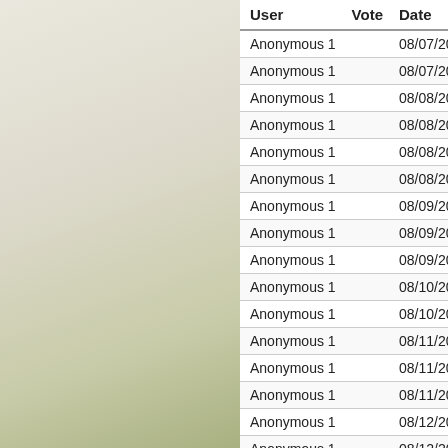| User | Vote | Date |
| --- | --- | --- |
| Anonymous 1 |  | 08/07/2019 - 0... |
| Anonymous 1 |  | 08/07/2019 - 2... |
| Anonymous 1 |  | 08/08/2019 - 0... |
| Anonymous 1 |  | 08/08/2019 - 0... |
| Anonymous 1 |  | 08/08/2019 - 0... |
| Anonymous 1 |  | 08/08/2019 - 0... |
| Anonymous 1 |  | 08/09/2019 - 0... |
| Anonymous 1 |  | 08/09/2019 - 0... |
| Anonymous 1 |  | 08/09/2019 - 0... |
| Anonymous 1 |  | 08/10/2019 - 0... |
| Anonymous 1 |  | 08/10/2019 - 1... |
| Anonymous 1 |  | 08/11/2019 - 0... |
| Anonymous 1 |  | 08/11/2019 - 1... |
| Anonymous 1 |  | 08/11/2019 - 1... |
| Anonymous 1 |  | 08/12/2019 - 0... |
| Anonymous 1 |  | 08/12/2019 - 0... |
| Anonymous 1 |  | 08/12/2019 - 1... |
| Anonymous 1 |  | 08/12/2019 - 1... |